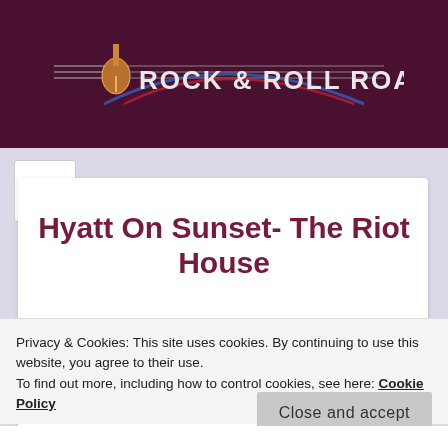Rock & Roll Roadmaps
Hyatt On Sunset- The Riot House
Privacy & Cookies: This site uses cookies. By continuing to use this website, you agree to their use.
To find out more, including how to control cookies, see here: Cookie Policy
Close and accept